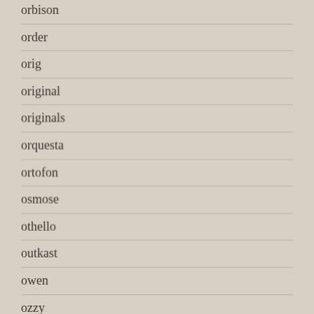orbison
order
orig
original
originals
orquesta
ortofon
osmose
othello
outkast
owen
ozzy
ozzy-see
pacific
package